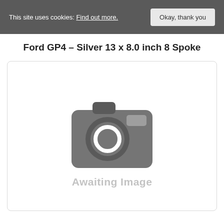This site uses cookies: Find out more. Okay, thank you
Ford GP4 – Silver 13 x 8.0 inch 8 Spoke
[Figure (photo): Placeholder image with camera icon and text 'Awaiting Image']